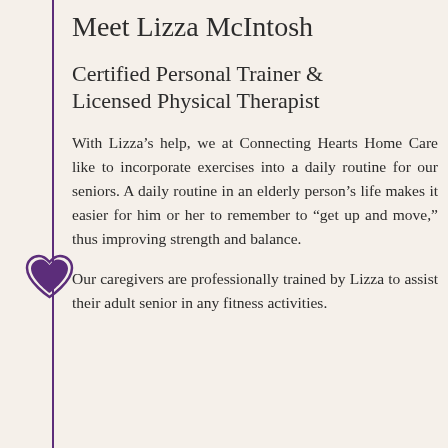Meet Lizza McIntosh
Certified Personal Trainer & Licensed Physical Therapist
With Lizza’s help, we at Connecting Hearts Home Care like to incorporate exercises into a daily routine for our seniors. A daily routine in an elderly person’s life makes it easier for him or her to remember to “get up and move,” thus improving strength and balance.
Our caregivers are professionally trained by Lizza to assist their adult senior in any fitness activities.